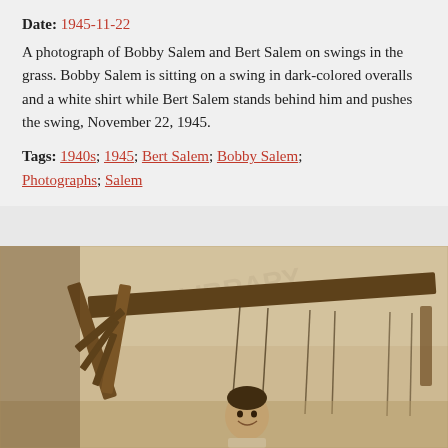Date: 1945-11-22
A photograph of Bobby Salem and Bert Salem on swings in the grass. Bobby Salem is sitting on a swing in dark-colored overalls and a white shirt while Bert Salem stands behind him and pushes the swing, November 22, 1945.
Tags: 1940s; 1945; Bert Salem; Bobby Salem; Photographs; Salem
[Figure (photo): A sepia-toned photograph of a swing set. The wooden swing frame is visible at the top with chains hanging down. A young boy (Bobby Salem) is visible at the bottom of the frame sitting on a swing, smiling at the camera. The background shows an outdoor grassy area.]